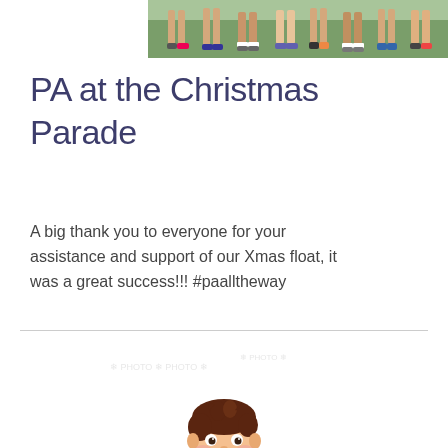[Figure (photo): Partial photo strip showing feet and legs of multiple children standing on grass]
PA at the Christmas Parade
A big thank you to everyone for your assistance and support of our Xmas float, it was a great success!!! #paalltheway
[Figure (illustration): Cartoon illustration of a smiling boy with brown hair wearing a blue shirt, holding what appears to be a broom or stick, with faint snowflake watermarks in the background]